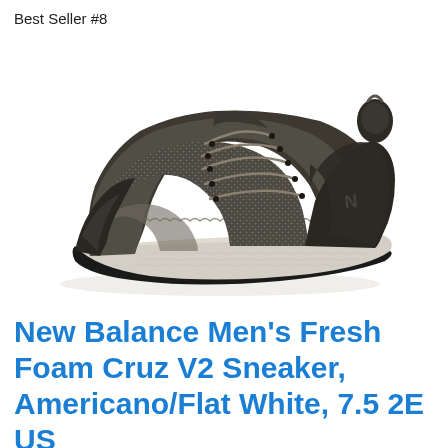Best Seller #8
[Figure (photo): A New Balance Men's Fresh Foam Cruz V2 Sneaker in Americano/Flat White colorway. The shoe features a dark olive/brown knit upper with a textured woven pattern, dark suede overlays, matching laces, and a light beige/white Fresh Foam midsole with a black rubber outsole. Photographed on a white background at a 3/4 angle showing the lateral side.]
New Balance Men’s Fresh Foam Cruz V2 Sneaker, Americano/Flat White, 7.5 2E US